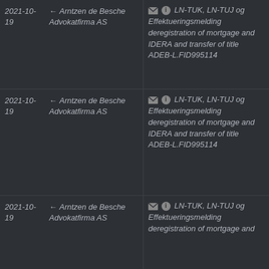| Date | Sender | Message |
| --- | --- | --- |
| 2021-10-19 | ← Arntzen de Besche Advokatfirma AS | ✉ ℹ LN-TUK, LN-TUJ og Effektueringsmelding deregistration of mortgage and IDERA and transfer of title ADEB-L.FID995114 |
| 2021-10-19 | ← Arntzen de Besche Advokatfirma AS | ✉ ℹ LN-TUK, LN-TUJ og Effektueringsmelding deregistration of mortgage and IDERA and transfer of title ADEB-L.FID995114 |
| 2021-10-19 | ← Arntzen de Besche Advokatfirma AS | ✉ ℹ LN-TUK, LN-TUJ og Effektueringsmelding deregistration of mortgage and |